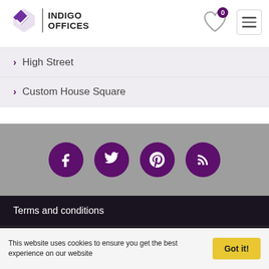[Figure (logo): Indigo Offices logo with purple diamond icon and text]
High Street
Custom House Square
[Figure (infographic): Social media icons: Facebook, Twitter, Pinterest, RSS on grey background]
Terms and conditions
Privacy policy
Blog
This website uses cookies to ensure you get the best experience on our website   Got it!